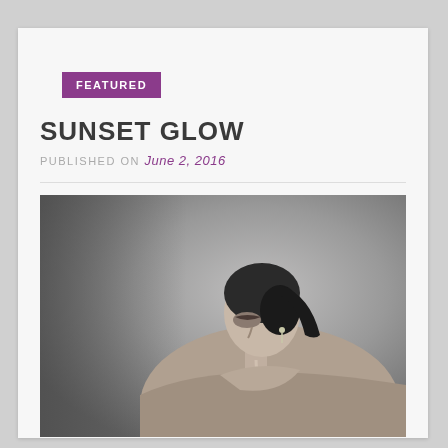FEATURED
SUNSET GLOW
PUBLISHED ON June 2, 2016
[Figure (photo): Black and white fashion photograph of a woman with dark hair pulled back, eyes closed, wearing a halter top, looking downward in a dramatic pose against a gradient grey background.]